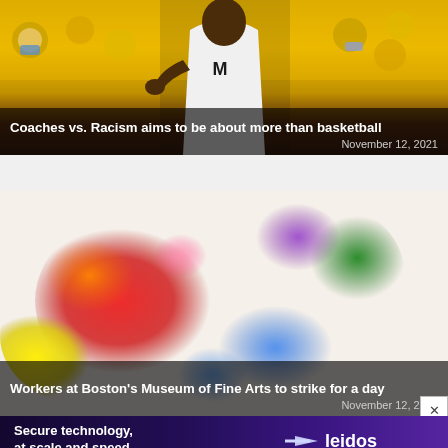[Figure (photo): Basketball coach in white Michigan jersey with Jordan logo, crowd of fans in yellow masks visible in background]
Coaches vs. Racism aims to be about more than basketball
November 12, 2021
[Figure (photo): Colorful rainbow watercolor paint splash on white background with red, orange, yellow, green, blue, purple colors]
Workers at Boston's Museum of Fine Arts to strike for a day
November 12, 2021
[Figure (other): Leidos advertisement: Secure technology, at scale and speed with Leidos logo and arrow icon on dark purple background]